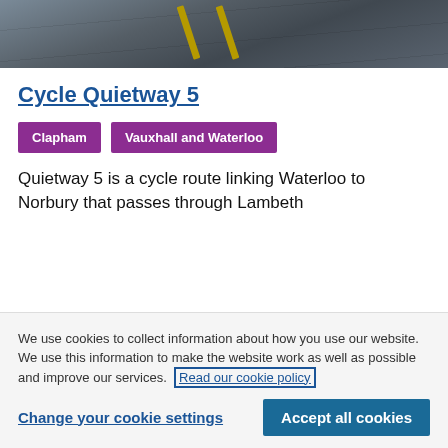[Figure (photo): Top portion of a road/cycling path photo, dark tarmac with yellow road markings visible]
Cycle Quietway 5
Clapham
Vauxhall and Waterloo
Quietway 5 is a cycle route linking Waterloo to Norbury that passes through Lambeth
We use cookies to collect information about how you use our website. We use this information to make the website work as well as possible and improve our services. Read our cookie policy
Change your cookie settings
Accept all cookies